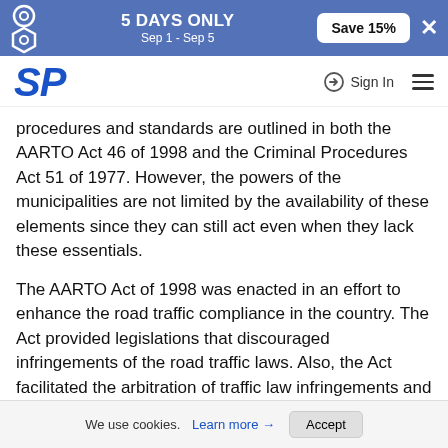[Figure (infographic): Promotional banner: 5 DAYS ONLY Sep 1 - Sep 5, Save 15% button, close X, with gear/hexagon icons on left]
[Figure (logo): SP logo in blue italic bold font, with Sign In link and hamburger menu on the right]
procedures and standards are outlined in both the AARTO Act 46 of 1998 and the Criminal Procedures Act 51 of 1977. However, the powers of the municipalities are not limited by the availability of these elements since they can still act even when they lack these essentials.
The AARTO Act of 1998 was enacted in an effort to enhance the road traffic compliance in the country. The Act provided legislations that discouraged infringements of the road traffic laws. Also, the Act facilitated the arbitration of traffic law infringements and offered credible backing to the prosecutor during proceedings related to road traffic laws. There are two hundred seventy eight municipalities in South Africa but only two of these follow the provisions of the original Act 117 of 1998. The other municipalities
We use cookies. Learn more → Accept